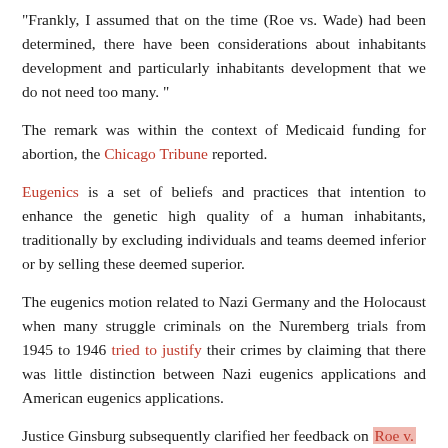“Frankly, I assumed that on the time (Roe vs. Wade) had been determined, there have been considerations about inhabitants development and particularly inhabitants development that we do not need too many.”
The remark was within the context of Medicaid funding for abortion, the Chicago Tribune reported.
Eugenics is a set of beliefs and practices that intention to enhance the genetic high quality of a human inhabitants, traditionally by excluding individuals and teams deemed inferior or by selling these deemed superior.
The eugenics motion related to Nazi Germany and the Holocaust when many struggle criminals on the Nuremberg trials from 1945 to 1946 tried to justify their crimes by claiming that there was little distinction between Nazi eugenics applications and American eugenics applications.
Justice Ginsburg subsequently clarified her feedback on Roe v.